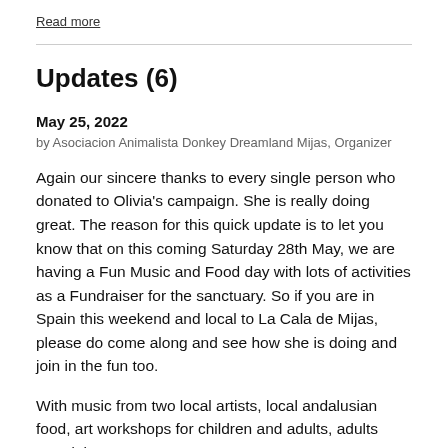Read more
Updates (6)
May 25, 2022
by Asociacion Animalista Donkey Dreamland Mijas, Organizer
Again our sincere thanks to every single person who donated to Olivia's campaign. She is really doing great. The reason for this quick update is to let you know that on this coming Saturday 28th May, we are having a Fun Music and Food day with lots of activities as a Fundraiser for the sanctuary. So if you are in Spain this weekend and local to La Cala de Mijas, please do come along and see how she is doing and join in the fun too.
With music from two local artists, local andalusian food, art workshops for children and adults, adults Mandala